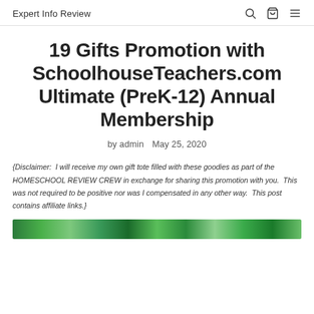Expert Info Review
19 Gifts Promotion with SchoolhouseTeachers.com Ultimate (PreK-12) Annual Membership
by admin   May 25, 2020
{Disclaimer:  I will receive my own gift tote filled with these goodies as part of the HOMESCHOOL REVIEW CREW in exchange for sharing this promotion with you.  This was not required to be positive nor was I compensated in any other way.  This post contains affiliate links.}
[Figure (photo): Colorful decorative image strip at the bottom of the page]